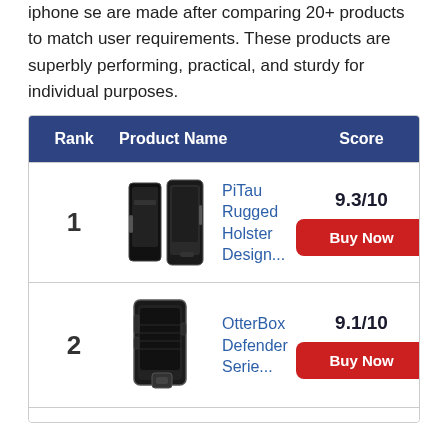iphone se are made after comparing 20+ products to match user requirements. These products are superbly performing, practical, and sturdy for individual purposes.
| Rank | Product Name | Score |
| --- | --- | --- |
| 1 | PiTau Rugged Holster Design... | 9.3/10 |
| 2 | OtterBox Defender Serie... | 9.1/10 |